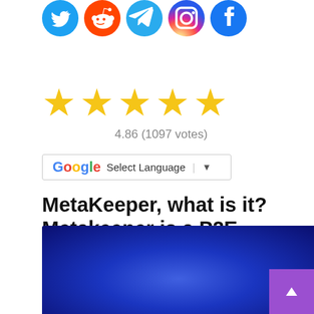[Figure (illustration): Social media icons row: Twitter (blue bird), Reddit (orange alien), Telegram (blue paper plane), Instagram (gradient camera), Facebook (blue f)]
[Figure (infographic): Five yellow stars rating display showing 4.86 out of 5 with 1097 votes]
4.86 (1097 votes)
[Figure (screenshot): Google Translate widget with G logo, Select Language text, and dropdown arrow]
MetaKeeper, what is it? Metakeeper is a P2E gamefi project on BSC. Recruit your keepers and start the adventure!
[Figure (illustration): Dark blue radial gradient background image, partially visible at bottom of page]